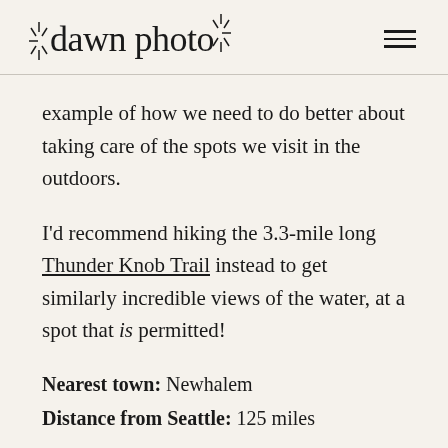dawn photo
example of how we need to do better about taking care of the spots we visit in the outdoors.
I'd recommend hiking the 3.3-mile long Thunder Knob Trail instead to get similarly incredible views of the water, at a spot that is permitted!
Nearest town: Newhalem
Distance from Seattle: 125 miles